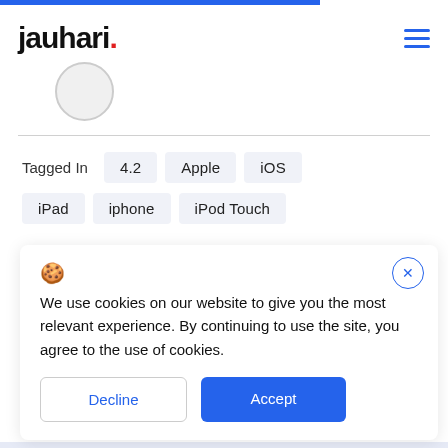jauhari.
Tagged In   4.2   Apple   iOS   iPad   iphone   iPod Touch
We use cookies on our website to give you the most relevant experience. By continuing to use the site, you agree to the use of cookies.